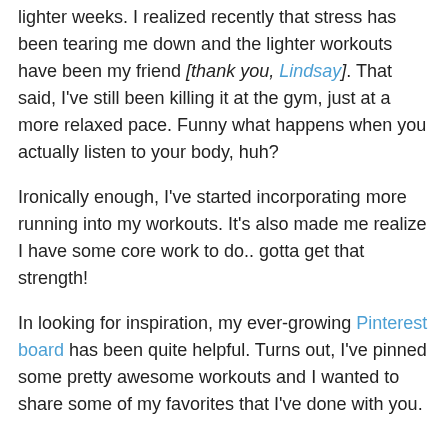lighter weeks. I realized recently that stress has been tearing me down and the lighter workouts have been my friend [thank you, Lindsay]. That said, I've still been killing it at the gym, just at a more relaxed pace. Funny what happens when you actually listen to your body, huh?
Ironically enough, I've started incorporating more running into my workouts. It's also made me realize I have some core work to do.. gotta get that strength!
In looking for inspiration, my ever-growing Pinterest board has been quite helpful. Turns out, I've pinned some pretty awesome workouts and I wanted to share some of my favorites that I've done with you.
Upper Body